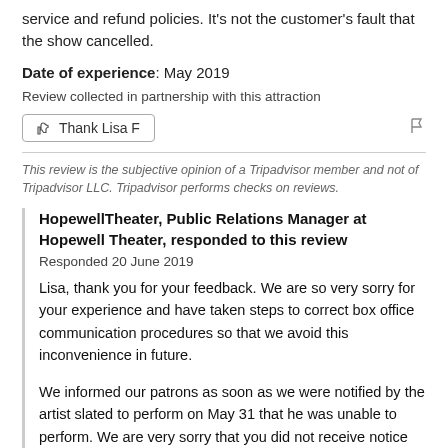service and refund policies. It's not the customer's fault that the show cancelled.
Date of experience: May 2019
Review collected in partnership with this attraction
Thank Lisa F
This review is the subjective opinion of a Tripadvisor member and not of Tripadvisor LLC. Tripadvisor performs checks on reviews.
HopewellTheater, Public Relations Manager at Hopewell Theater, responded to this review
Responded 20 June 2019
Lisa, thank you for your feedback. We are so very sorry for your experience and have taken steps to correct box office communication procedures so that we avoid this inconvenience in future.
We informed our patrons as soon as we were notified by the artist slated to perform on May 31 that he was unable to perform. We are very sorry that you did not receive notice we sent via a subsequent email on May 31 we would not be rescheduling and notifying patrons of the refund we issued that d...